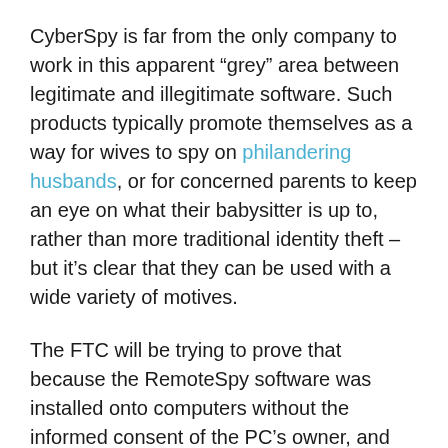CyberSpy is far from the only company to work in this apparent “grey” area between legitimate and illegitimate software. Such products typically promote themselves as a way for wives to spy on philandering husbands, or for concerned parents to keep an eye on what their babysitter is up to, rather than more traditional identity theft – but it’s clear that they can be used with a wide variety of motives.
The FTC will be trying to prove that because the RemoteSpy software was installed onto computers without the informed consent of the PC’s owner, and used to secretly steal personal data, that it was in breach of the law. If the FTC is successful in their fight against CyberSpy it could send a warning shot to other vendors selling “legitimate” spyware.